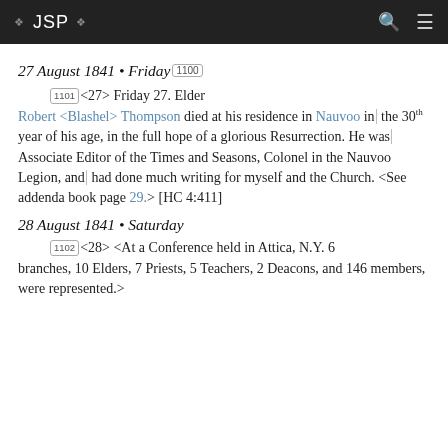❖ JSP ❖
27 August 1841 • Friday [1100]
[1101] <27> Friday 27. Elder Robert <Blashel> Thompson died at his residence in Nauvoo in the 30th year of his age, in the full hope of a glorious Resurrection. He was Associate Editor of the Times and Seasons, Colonel in the Nauvoo Legion, and had done much writing for myself and the Church. <See addenda book page 29.> [HC 4:411]
28 August 1841 • Saturday
[1102] <28> <At a Conference held in Attica, N.Y. 6 branches, 10 Elders, 7 Priests, 5 Teachers, 2 Deacons, and 146 members, were represented.>